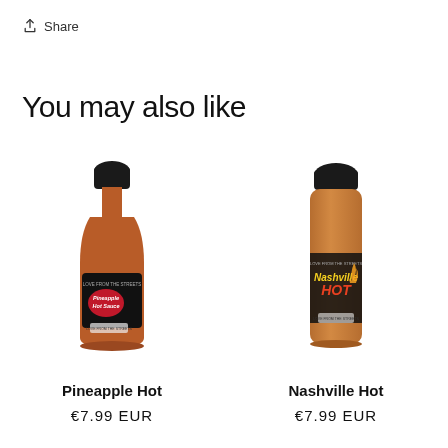Share
You may also like
[Figure (photo): Bottle of Pineapple Hot Sauce with a black label reading 'Love from the Streets – Pineapple Hot Sauce']
Pineapple Hot
€7.99 EUR
[Figure (photo): Shaker bottle of Nashville Hot seasoning with a black label reading 'Love from the Streets – Nashville Hot']
Nashville Hot
€7.99 EUR